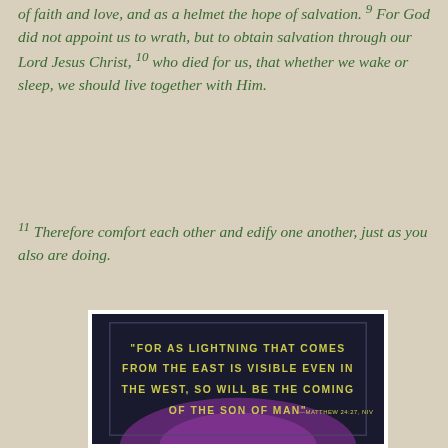of faith and love, and as a helmet the hope of salvation. 9 For God did not appoint us to wrath, but to obtain salvation through our Lord Jesus Christ, 10 who died for us, that whether we wake or sleep, we should live together with Him.
11 Therefore comfort each other and edify one another, just as you also are doing.
[Figure (photo): Dark background image with gold/yellow text reading: 'FOR AS LIGHTNING THAT COMES FROM THE EAST IS VISIBLE EVEN IN THE WEST, SO WILL BE THE COMING OF THE SON OF MAN' with a Matthew citation, on a dark purple/black background with a bright light effect at the bottom.]